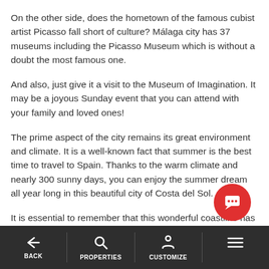On the other side, does the hometown of the famous cubist artist Picasso fall short of culture? Málaga city has 37 museums including the Picasso Museum which is without a doubt the most famous one.
And also, just give it a visit to the Museum of Imagination. It may be a joyous Sunday event that you can attend with your family and loved ones!
The prime aspect of the city remains its great environment and climate. It is a well-known fact that summer is the best time to travel to Spain. Thanks to the warm climate and nearly 300 sunny days, you can enjoy the summer dream all year long in this beautiful city of Costa del Sol.
It is essential to remember that this wonderful coastline has earned its reputation as Costa del Golf. It hosts numerous prestigious golf courses and international tournaments. Especially Málaga's
BACK  PROPERTIES  CUSTOMIZE  ≡